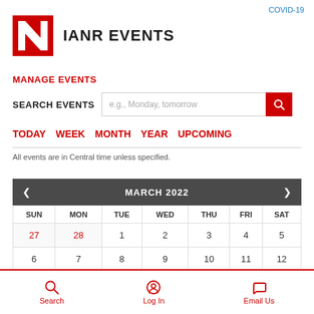COVID-19
IANR EVENTS
MANAGE EVENTS
SEARCH EVENTS  e.g., Monday, tomorrow
TODAY  WEEK  MONTH  YEAR  UPCOMING
All events are in Central time unless specified.
| SUN | MON | TUE | WED | THU | FRI | SAT |
| --- | --- | --- | --- | --- | --- | --- |
| 27 | 28 | 1 | 2 | 3 | 4 | 5 |
| 6 | 7 | 8 | 9 | 10 | 11 | 12 |
Search  Log In  Email Us